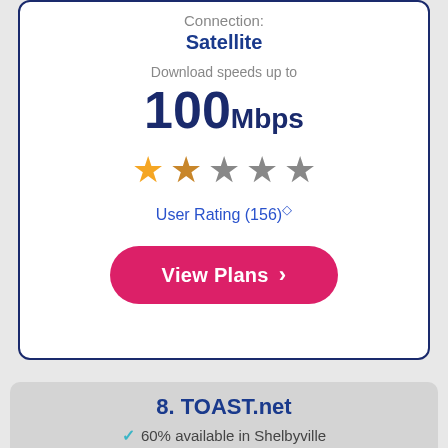Connection:
Satellite
Download speeds up to
100Mbps
[Figure (other): Star rating: 1.5 out of 5 stars (one full star, one half star, three empty stars)]
User Rating (156)◇
View Plans ›
8. TOAST.net
✓ 60% available in Shelbyville